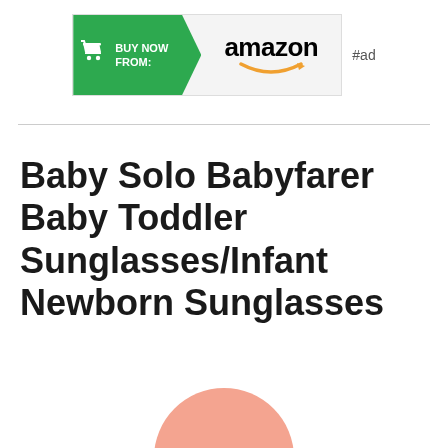[Figure (infographic): Amazon 'Buy Now From' affiliate advertisement banner with green arrow section containing shopping cart icon and 'BUY NOW FROM:' text, followed by Amazon logo with orange smile, and '#ad' label to the right]
Baby Solo Babyfarer Baby Toddler Sunglasses/Infant Newborn Sunglasses